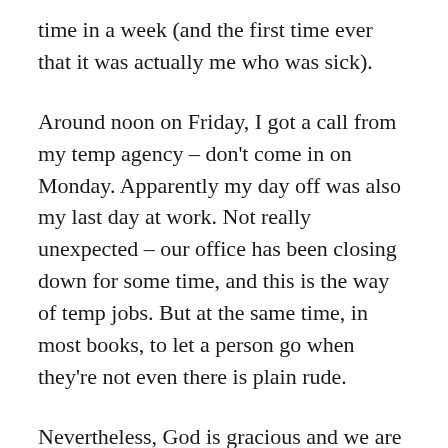time in a week (and the first time ever that it was actually me who was sick).
Around noon on Friday, I got a call from my temp agency – don't come in on Monday. Apparently my day off was also my last day at work. Not really unexpected – our office has been closing down for some time, and this is the way of temp jobs. But at the same time, in most books, to let a person go when they're not even there is plain rude.
Nevertheless, God is gracious and we are not ungrateful. We've been watching with familiar admiration all through this. In the years since I moved out on my own, though I've never